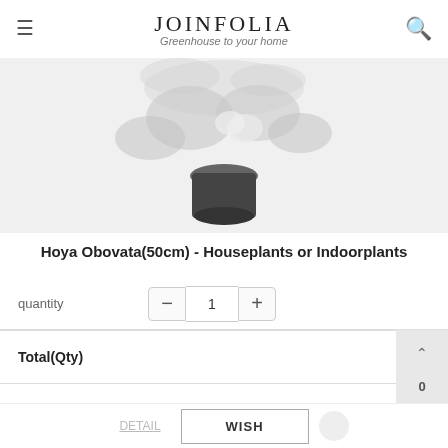JOINFOLIA — Greenhouse to your home
[Figure (photo): A potted Hoya Obovata plant with dark round pot on white/light grey background, viewed from above/front.]
Hoya Obovata(50cm) - Houseplants or Indoorplants
| Field | Value |
| --- | --- |
| Price | request by email |
| quantity | 1 |
| Total(Qty) | 0 |
DETAIL
WISH